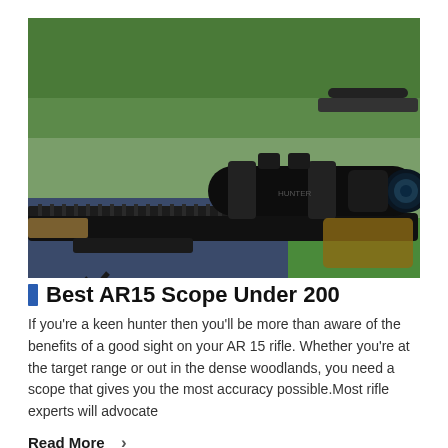[Figure (photo): Close-up photograph of a black AR-15 rifle with a large telescopic scope mounted on a bipod, resting on a surface at an outdoor shooting range. Other rifles visible in the background on green grass.]
Best AR15 Scope Under 200
If you're a keen hunter then you'll be more than aware of the benefits of a good sight on your AR 15 rifle. Whether you're at the target range or out in the dense woodlands, you need a scope that gives you the most accuracy possible.Most rifle experts will advocate
Read More  →